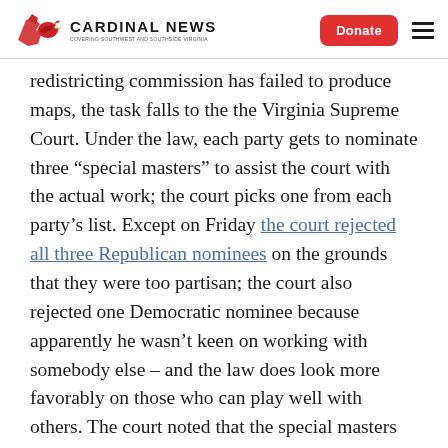Cardinal News | Donate
redistricting commission has failed to produce maps, the task falls to the the Virginia Supreme Court. Under the law, each party gets to nominate three “special masters” to assist the court with the actual work; the court picks one from each party’s list. Except on Friday the court rejected all three Republican nominees on the grounds that they were too partisan; the court also rejected one Democratic nominee because apparently he wasn’t keen on working with somebody else – and the law does look more favorably on those who can play well with others. The court noted that the special masters serve in a